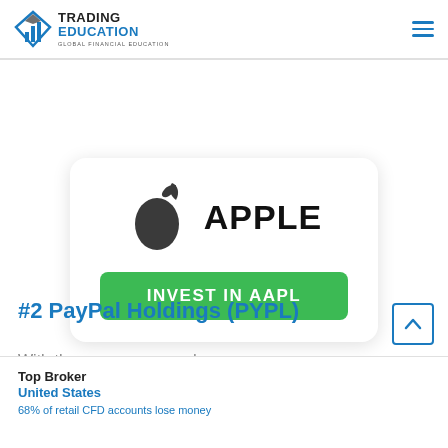TRADING EDUCATION — GLOBAL FINANCIAL EDUCATION
[Figure (logo): Apple logo (dark grey apple silhouette with bite taken out) beside bold text APPLE, with a green INVEST IN AAPL button below, inside a rounded white card with shadow]
#2 PayPal Holdings (PYPL)
With th...
Top Broker
United States
68% of retail CFD accounts lose money